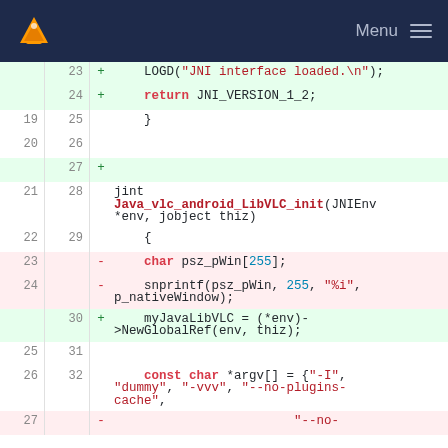VLC Menu
[Figure (screenshot): Code diff view showing C/JNI source code with line numbers, added lines (green background), removed lines (red background), and neutral lines. Lines shown are 19-27 (old) and 23-32 (new).]